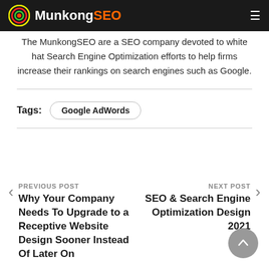MunkongSEO
The MunkongSEO are a SEO company devoted to white hat Search Engine Optimization efforts to help firms increase their rankings on search engines such as Google.
Tags: Google AdWords
PREVIOUS POST
Why Your Company Needs To Upgrade to a Receptive Website Design Sooner Instead Of Later On
NEXT POST
SEO & Search Engine Optimization Design 2021